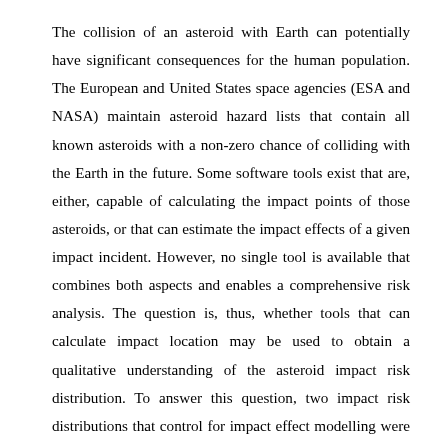The collision of an asteroid with Earth can potentially have significant consequences for the human population. The European and United States space agencies (ESA and NASA) maintain asteroid hazard lists that contain all known asteroids with a non-zero chance of colliding with the Earth in the future. Some software tools exist that are, either, capable of calculating the impact points of those asteroids, or that can estimate the impact effects of a given impact incident. However, no single tool is available that combines both aspects and enables a comprehensive risk analysis. The question is, thus, whether tools that can calculate impact location may be used to obtain a qualitative understanding of the asteroid impact risk distribution. To answer this question, two impact risk distributions that control for impact effect modelling were generated and compared. The Asteroid Risk Mitigation Optimisation and Research (ARMOR) tool, in conjunction with the freely available software